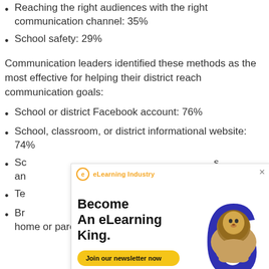Reaching the right audiences with the right communication channel: 35%
School safety: 29%
Communication leaders identified these methods as the most effective for helping their district reach communication goals:
School or district Facebook account: 76%
School, classroom, or district informational website: 74%
School or district social media accounts and ...s
Te...
Br... parent's home or parents' email: 58%
[Figure (other): eLearning Industry advertisement overlay: 'Become An eLearning King.' with a lion image, blue decorative number, and yellow 'Join our newsletter now' button.]